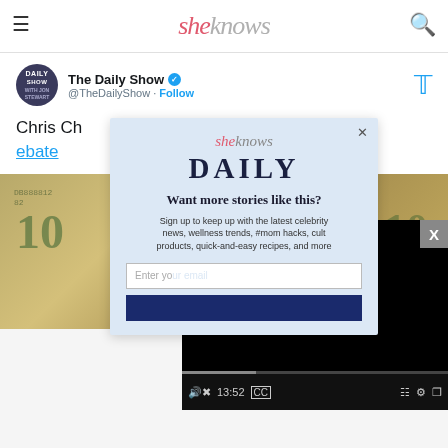sheknows
[Figure (screenshot): Tweet from The Daily Show (@TheDailyShow) with verified badge and Twitter bird icon. Tweet text: 'Chris Ch[ristie's] family has been [in the] business [... de]bate']
[Figure (screenshot): SheKnows Daily modal popup with headline 'Want more stories like this?' and subtext 'Sign up to keep up with the latest celebrity news, wellness trends, #mom hacks, cult products, quick-and-easy recipes, and more'. Contains email input field and subscribe button.]
[Figure (screenshot): Video player overlay showing black player with play button, progress bar, time 13:52, and control icons (mute, CC, grid, settings, fullscreen). X close button in top right.]